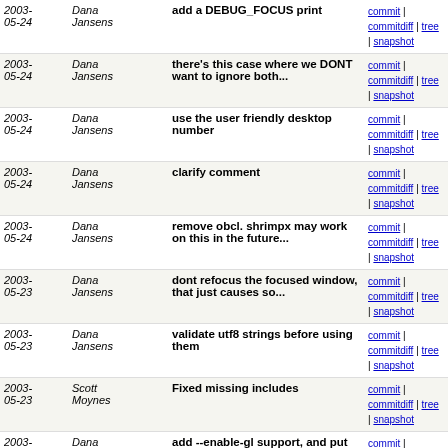| Date | Author | Message | Links |
| --- | --- | --- | --- |
| 2003-05-24 | Dana Jansens | add a DEBUG_FOCUS print | commit | commitdiff | tree | snapshot |
| 2003-05-24 | Dana Jansens | there's this case where we DONT want to ignore both... | commit | commitdiff | tree | snapshot |
| 2003-05-24 | Dana Jansens | use the user friendly desktop number | commit | commitdiff | tree | snapshot |
| 2003-05-24 | Dana Jansens | clarify comment | commit | commitdiff | tree | snapshot |
| 2003-05-24 | Dana Jansens | remove obcl. shrimpx may work on this in the future... | commit | commitdiff | tree | snapshot |
| 2003-05-23 | Dana Jansens | dont refocus the focused window, that just causes so... | commit | commitdiff | tree | snapshot |
| 2003-05-23 | Dana Jansens | validate utf8 strings before using them | commit | commitdiff | tree | snapshot |
| 2003-05-23 | Scott Moynes | Fixed missing includes | commit | commitdiff | tree | snapshot |
| 2003-05-23 | Dana Jansens | add --enable-gl support, and put the flags/libs in... | commit | commitdiff | tree | snapshot |
| 2003-05-23 | Dana Jansens | remove a todo item that seems to be.. done! | commit | commitdiff | tree | snapshot |
| 2003-05-23 | Dana Jansens | missed a case of using the stacking list and assuming... | commit | commitdiff | tree | snapshot |
| 2003-05-23 | Dana Jansens | ignore ancestor FocusIn events. i get them sometimes... | commit | commitdiff | tree | snapshot |
| 2003-05-23 | Dana Jansens | had some code inside the action for loop that didnt... | commit | commitdiff | tree | snapshot |
| 2003-05-23 | Scott | Add toggle decor action to client | commit | commitdiff | tree |